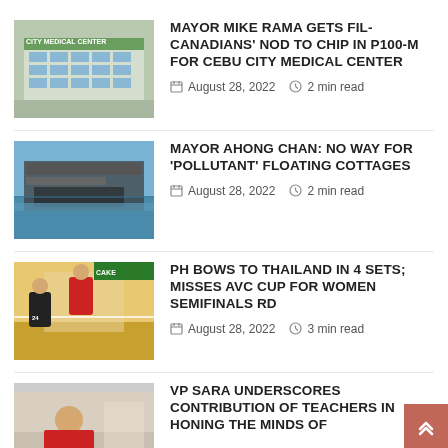[Figure (photo): Photo of a multi-story building (Cebu City Medical Center)]
MAYOR MIKE RAMA GETS FIL-CANADIANS' NOD TO CHIP IN P100-M FOR CEBU CITY MEDICAL CENTER
August 28, 2022   2 min read
[Figure (photo): Photo of floating cottages/structures on water]
MAYOR AHONG CHAN: NO WAY FOR 'POLLUTANT' FLOATING COTTAGES
August 28, 2022   2 min read
[Figure (photo): Photo of volleyball players during a match]
PH BOWS TO THAILAND IN 4 SETS; MISSES AVC CUP FOR WOMEN SEMIFINALS RD
August 28, 2022   3 min read
[Figure (photo): Photo of VP Sara Duterte speaking at a podium]
VP SARA UNDERSCORES CONTRIBUTION OF TEACHERS IN HONING THE MINDS OF